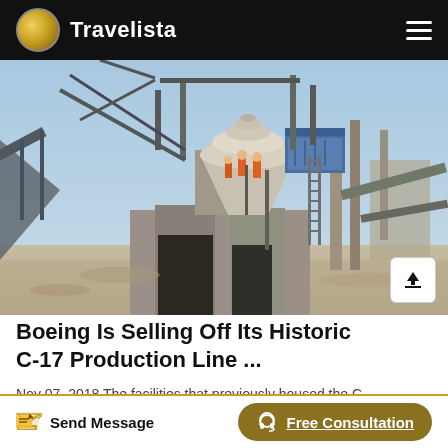Travelista
[Figure (photo): Industrial mining/crushing facility with concrete structures, conveyor belts, and workers in orange vests standing on elevated platform with large cone crusher and blue motor equipment under a clear sky.]
Boeing Is Selling Off Its Historic C-17 Production Line ...
Nov 07, 2018 The facilities that previously housed the C-
Send Message
Free Consultation